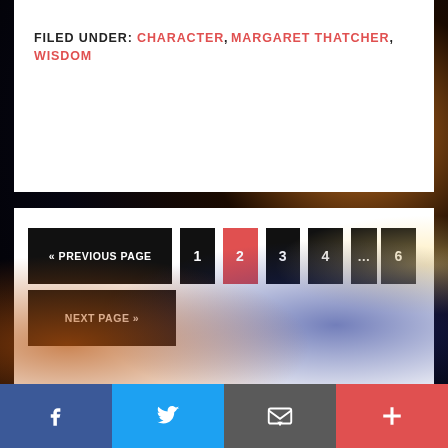FILED UNDER: CHARACTER, MARGARET THATCHER, WISDOM
« PREVIOUS PAGE  1  2  3  4  ...  6  NEXT PAGE »
[Figure (screenshot): Dark bokeh background with orange and blue light effects]
[Figure (infographic): Social share bar with Facebook, Twitter, Email, and More buttons]